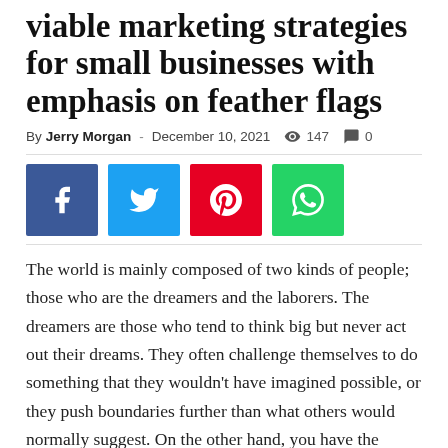viable marketing strategies for small businesses with emphasis on feather flags
By Jerry Morgan - December 10, 2021  147  0
[Figure (other): Social sharing buttons: Facebook (blue), Twitter (cyan), Pinterest (red), WhatsApp (green)]
The world is mainly composed of two kinds of people; those who are the dreamers and the laborers. The dreamers are those who tend to think big but never act out their dreams. They often challenge themselves to do something that they wouldn't have imagined possible, or they push boundaries further than what others would normally suggest. On the other hand, you have the laborer; this is someone for whom starting small businesses has become a habit. But even though challenges can occur with both